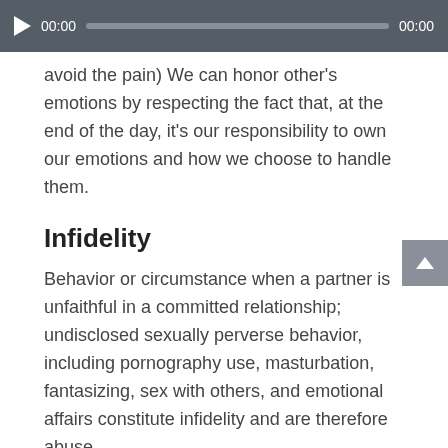[Figure (other): Audio player bar with play button, timestamp 00:00, progress track, and end timestamp 00:00]
avoid the pain) We can honor other's emotions by respecting the fact that, at the end of the day, it's our responsibility to own our emotions and how we choose to handle them.
Infidelity
Behavior or circumstance when a partner is unfaithful in a committed relationship; undisclosed sexually perverse behavior, including pornography use, masturbation, fantasizing, sex with others, and emotional affairs constitute infidelity and are therefore abuse.
Lust